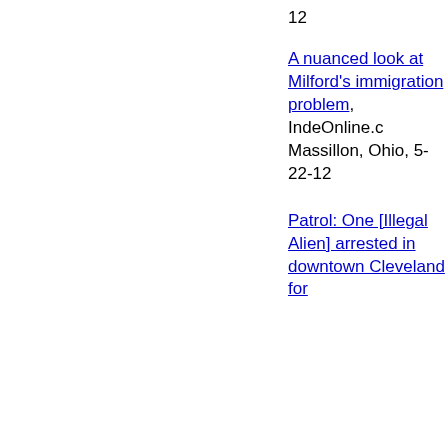12
A nuanced look at Milford's immigration problem, IndeOnline.com, Massillon, Ohio, 5-22-12
Patrol: One [Illegal Alien] arrested in downtown Cleveland for